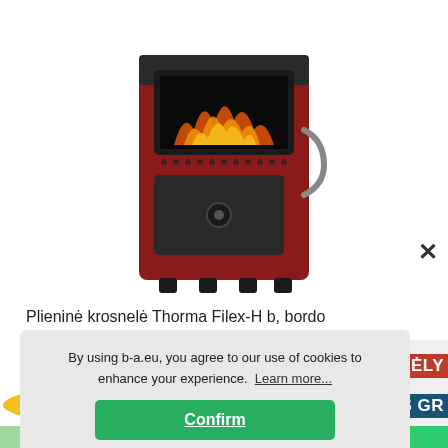[Figure (photo): Product photo of a dark red/maroon steel wood-burning stove (Thorma Filex-H b, bordo) with glass door showing flames and a lower ash door, on white background]
Plieninė krosnelė Thorma Filex-H b, bordo
Price: 387.99 €
[Figure (photo): Partially visible background advertisement image showing a striped beach umbrella, sombrero hat, and colorful items]
[Figure (photo): Partial right-side banner with text 'SANDĖLY' in red and 'IOS GR' in dark blue]
By using b-a.eu, you agree to our use of cookies to enhance your experience. Learn more...
Confirm